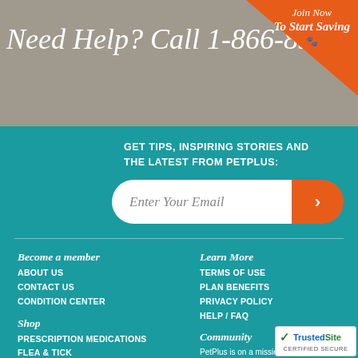Need Help? Call 1-866-850-6706
[Figure (infographic): Orange corner badge with 'Join Now / To Start Saving' text and pet silhouettes]
GET TIPS, INSPIRING STORIES AND THE LATEST FROM PETPLUS:
Enter Your Email
Become a member
ABOUT US
CONTACT US
CONDITION CENTER
Shop
PRESCRIPTION MEDICATIONS
FLEA & TICK
HEARTWORM
Learn More
TERMS OF USE
PLAN BENEFITS
PRIVACY POLICY
HELP / FAQ
Community
PetPlus is on a mission to manage you pet's care and to the pet community.
[Figure (logo): TrustedSite CERTIFIED SECURE badge]